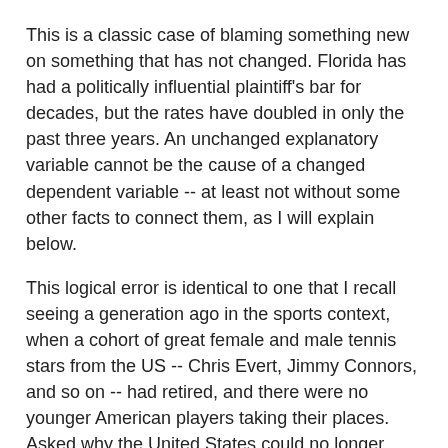This is a classic case of blaming something new on something that has not changed.  Florida has had a politically influential plaintiff's bar for decades, but the rates have doubled in only the past three years.  An unchanged explanatory variable cannot be the cause of a changed dependent variable -- at least not without some other facts to connect them, as I will explain below.
This logical error is identical to one that I recall seeing a generation ago in the sports context, when a cohort of great female and male tennis stars from the US -- Chris Evert, Jimmy Connors, and so on -- had retired, and there were no younger American players taking their places.  Asked why the United States could no longer produce world-class tennis stars, a commentator said that, well gee, athletically talented American kids have a lot of alternatives to choose from: football, baseball, basketball, and so on.  Sweden, which then dominated the international tennis rankings with a population only 2 percent as large as the US's, pushed all of their kids into tennis.  See?  QED.
Leaving aside that the factual assertion was simply wrong...